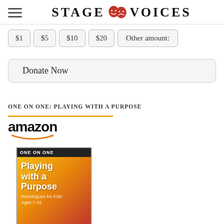STAGE VOICES
$1
$5
$10
$20
Other amount:
Donate Now
ONE ON ONE: PLAYING WITH A PURPOSE
[Figure (logo): Amazon logo with orange smile arrow]
[Figure (photo): Book cover for One on One: Playing with a Purpose — orange/yellow/red gradient cover with black top bar, white title text]
One on One: Playing with a...
$15.01